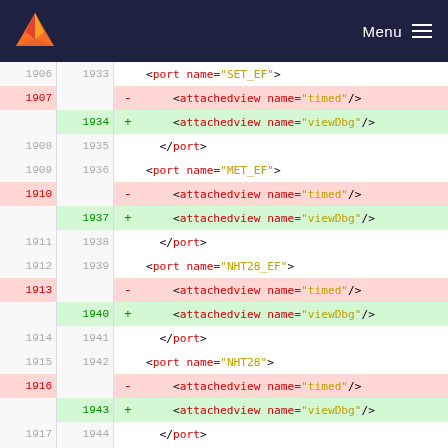Menu
[Figure (screenshot): Git diff view showing XML code changes replacing 'timed' attachedview with 'viewDbg' attachedview across multiple port elements (SET_EF, MET_EF, NHT28_EF, NHT28, SGR_FM). Left column shows old line numbers (1906-1920), right column shows new line numbers (1933-1947).]